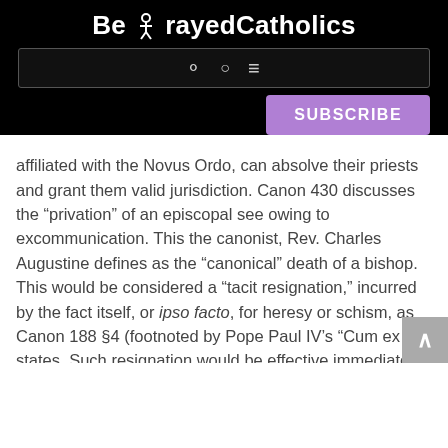BetrayedCatholics
affiliated with the Novus Ordo, can absolve their priests and grant them valid jurisdiction. Canon 430 discusses the “privation” of an episcopal see owing to excommunication. This the canonist, Rev. Charles Augustine defines as the “canonical” death of a bishop. This would be considered a “tacit resignation,” incurred by the fact itself, or ipso facto, for heresy or schism, as Canon 188 §4 (footnoted by Pope Paul IV’s “Cum ex…”) states. Such resignation would be effective immediately and would require no acceptance, only evidence of the facts in the case. And it would occur the instant that a validly ordained and consecrated bishop joined the Novus